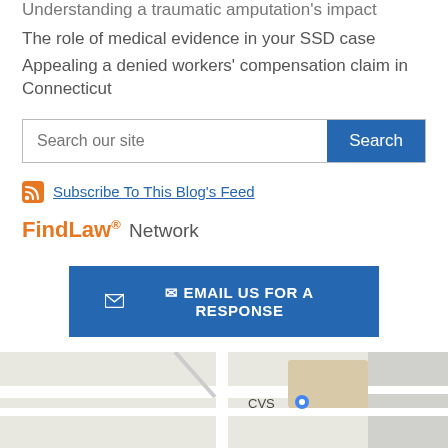Understanding a traumatic amputation's impact
The role of medical evidence in your SSD case
Appealing a denied workers' compensation claim in Connecticut
[Figure (other): Search bar with text input labeled 'Search our site' and a blue Search button]
Subscribe To This Blog's Feed
FindLaw. Network
[Figure (other): Blue button with envelope icon and text: EMAIL US FOR A RESPONSE]
[Figure (map): Partial Google Maps view showing street intersection with CVS location marker]